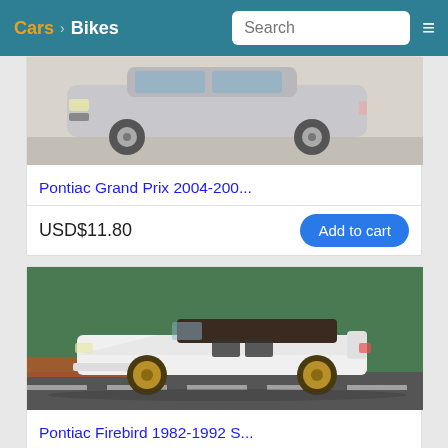Cars  Bikes  Search
[Figure (photo): Silver Pontiac Grand Prix sedan, front/side view in parking lot]
Pontiac Grand Prix 2004-200...
USD$11.80
Add to cart
[Figure (photo): White Pontiac Firebird 1982-1992 convertible sports car on road]
Pontiac Firebird 1982-1992 S...
USD$9.80
Add to cart